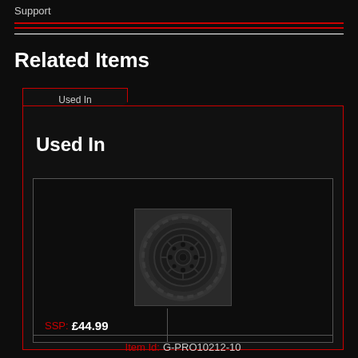Support
Related Items
Used In
Used In
[Figure (photo): RC car wheel/tire product photo - dark grey rubber paddle/rib tire mounted on black wheel]
Item Id: G-PRO10212-10
1/10 Dumont Fr Paddle/Rib 2.2"/3.0" SC Mounted 12mm Black Ra
SSP: £44.99